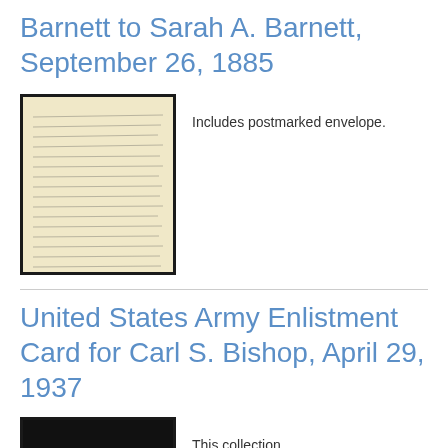Barnett to Sarah A. Barnett, September 26, 1885
[Figure (photo): Photograph of a handwritten letter with cursive script on yellowed paper, bordered in black.]
Includes postmarked envelope.
United States Army Enlistment Card for Carl S. Bishop, April 29, 1937
[Figure (photo): Partial view of a dark-bordered Army enlistment card at the bottom of the page.]
This collection...